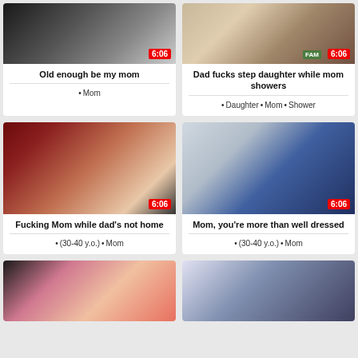[Figure (photo): Video thumbnail - close-up of person with light hair, 6:06 duration badge]
Old enough be my mom
Mom
[Figure (photo): Video thumbnail - person near bathtub/bathroom, FAM badge, 6:06 duration badge]
Dad fucks step daughter while mom showers
Daughter  Mom  Shower
[Figure (photo): Video thumbnail - woman in sequined top lying down, red room background, 6:06 duration badge]
Fucking Mom while dad's not home
(30-40 y.o.)  Mom
[Figure (photo): Video thumbnail - woman with glasses in blue dress, kitchen background, 6:06 duration badge]
Mom, you're more than well dressed
(30-40 y.o.)  Mom
[Figure (photo): Video thumbnail - blonde woman in pink lingerie lying down]
[Figure (photo): Video thumbnail - person in plaid shirt]